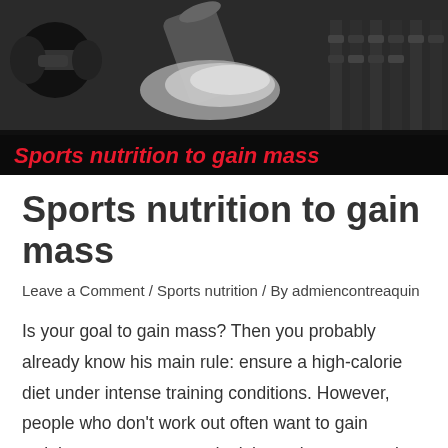[Figure (photo): Black and white photo of gym/fitness equipment including dumbbells and protein powder, with overlay text 'Sports nutrition to gain mass' in red italic bold font on dark semi-transparent banner at bottom of image.]
Sports nutrition to gain mass
Leave a Comment / Sports nutrition / By admiencontreaquin
Is your goal to gain mass? Then you probably already know his main rule: ensure a high-calorie diet under intense training conditions. However, people who don't work out often want to gain weight, so suppose you don't have time to exercise in the gym, but your physique doesn't suit you, you